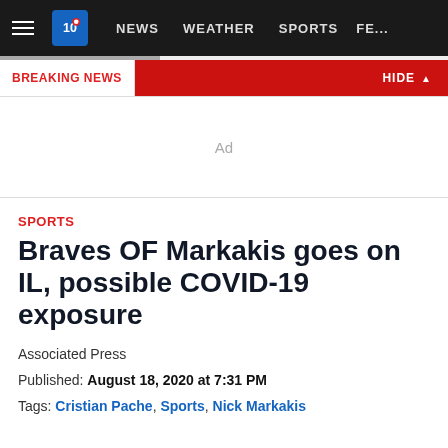NEWS  WEATHER  SPORTS  FE...
BREAKING NEWS  HIDE ^
Ad
SPORTS
Braves OF Markakis goes on IL, possible COVID-19 exposure
Associated Press
Published: August 18, 2020 at 7:31 PM
Tags: Cristian Pache, Sports, Nick Markakis